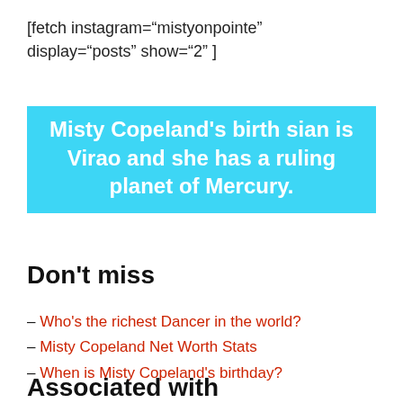[fetch instagram="mistyonpointe" display="posts" show="2" ]
Misty Copeland's birth sian is Virao and she has a ruling planet of Mercury.
Don't miss
– Who's the richest Dancer in the world?
– Misty Copeland Net Worth Stats
– When is Misty Copeland's birthday?
Associated with